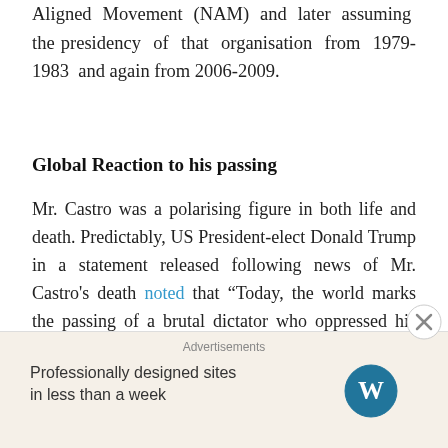Aligned Movement (NAM) and later assuming the presidency of that organisation from 1979-1983 and again from 2006-2009.
Global Reaction to his passing
Mr. Castro was a polarising figure in both life and death. Predictably, US President-elect Donald Trump in a statement released following news of Mr. Castro's death noted that “Today, the world marks the passing of a brutal dictator who oppressed his own people for nearly six decades.” Aside from the nausea-inducing rejoicing by US media, politicians and Cuban-Americans
Advertisements
Professionally designed sites in less than a week